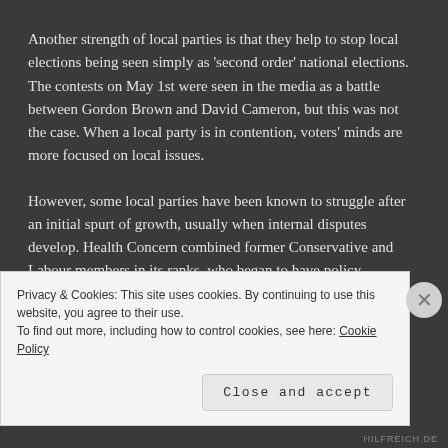Another strength of local parties is that they help to stop local elections being seen simply as 'second order' national elections. The contests on May 1st were seen in the media as a battle between Gordon Brown and David Cameron, but this was not the case. When a local party is in contention, voters' minds are more focused on local issues.
However, some local parties have been known to struggle after an initial spurt of growth, usually when internal disputes develop. Health Concern combined former Conservative and Labour members in its ranks, who began to have policy disagreements
Privacy & Cookies: This site uses cookies. By continuing to use this website, you agree to their use.
To find out more, including how to control cookies, see here: Cookie Policy
Close and accept